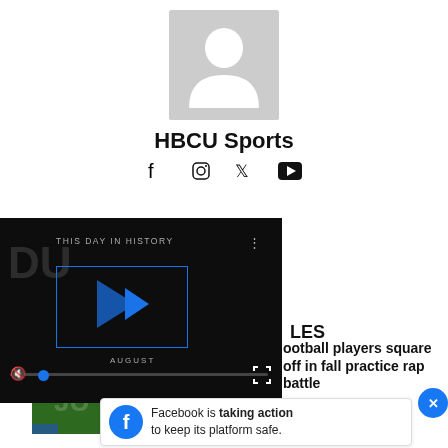[Figure (photo): Grey placeholder avatar/profile image with silhouette of a person]
HBCU Sports
[Figure (other): Social media icons: Facebook, Instagram, Twitter, YouTube]
[Figure (screenshot): Video player showing 'THIS DAY IN HISTORY' with play button, mute icon, progress bar, AUGUST label]
LES
ootball players square off in fall practice rap battle
Jarrett Hoffman - August 19, 2022
[Figure (photo): Thumbnail of a football field with field markings]
Facebook is taking action to keep its platform safe.